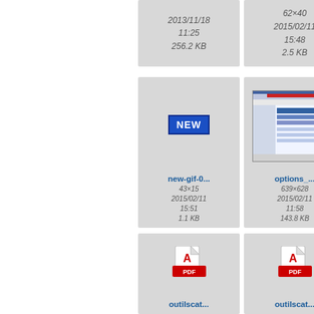[Figure (screenshot): File browser grid showing file thumbnails with names, dimensions, dates, and sizes. Partial cells visible at edges.]
62×40
2015/02/11
15:48
2.5 KB
2013/11/18
11:25
256.2 KB
[Figure (illustration): NEW badge gif thumbnail]
new-gif-0...
43×15
2015/02/11
15:51
1.1 KB
[Figure (screenshot): options_ screenshot thumbnail showing a Windows application dialog]
options_...
639×628
2015/02/11
11:58
143.8 KB
[Figure (other): op... partial cell at right edge]
[Figure (other): outilscat... PDF icon thumbnail]
outilscat...
[Figure (other): outilscat... PDF icon thumbnail second]
outilscat...
pa... partial cell at right edge